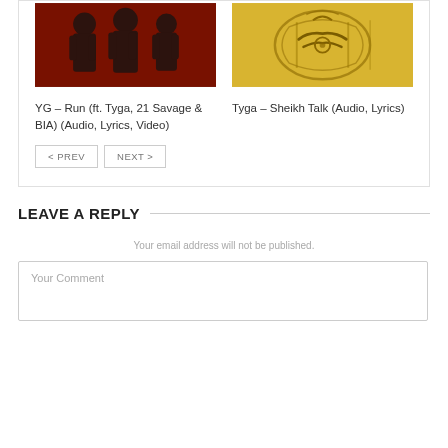[Figure (photo): Red and black stylized photo of three male figures (YG, Tyga, 21 Savage & BIA) for the song Run]
[Figure (photo): Gold-toned decorative artwork with Arabic calligraphy and ornamental shapes for Tyga Sheikh Talk]
YG – Run (ft. Tyga, 21 Savage & BIA) (Audio, Lyrics, Video)
Tyga – Sheikh Talk (Audio, Lyrics)
< PREV
NEXT >
LEAVE A REPLY
Your email address will not be published.
Your Comment